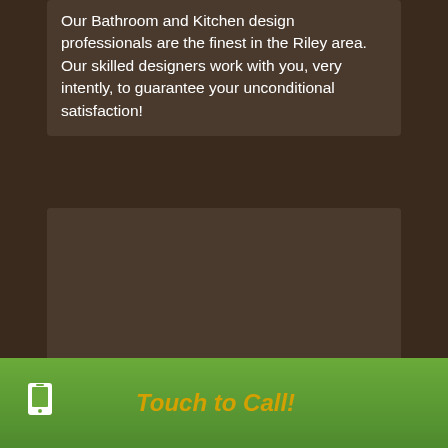Our Bathroom and Kitchen design professionals are the finest in the Riley area. Our skilled designers work with you, very intently, to guarantee your unconditional satisfaction!
[Figure (photo): Image card for Kitchen & Bath Remodeling section with dark brown background]
Kitchen & Bath Remodeling
Touch to Call!